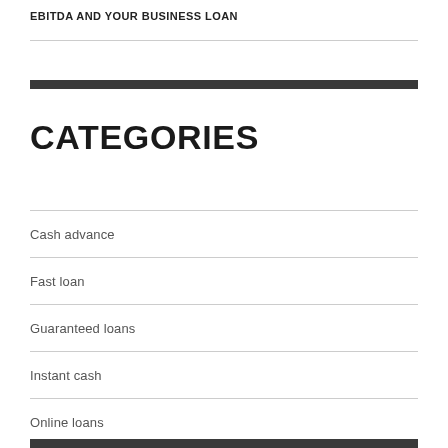EBITDA AND YOUR BUSINESS LOAN
CATEGORIES
Cash advance
Fast loan
Guaranteed loans
Instant cash
Online loans